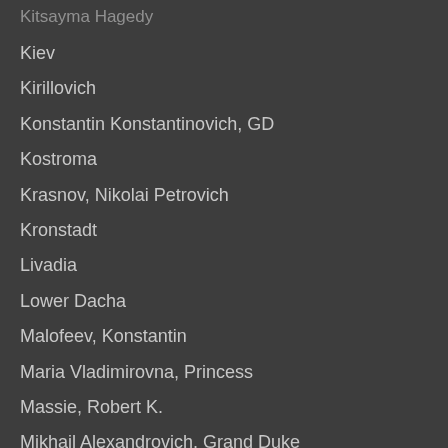Kitsayma Hagedy
Kiev
Kirillovich
Konstantin Konstantinovich, GD
Kostroma
Krasnov, Nikolai Petrovich
Kronstadt
Livadia
Lower Dacha
Malofeev, Konstantin
Maria Vladimirovna, Princess
Massie, Robert K.
Mikhail Alexandrovich, Grand Duke
Mogilev
Monuments